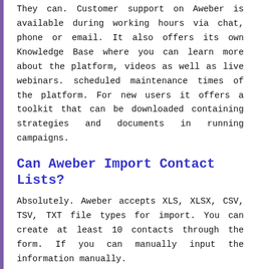They can. Customer support on Aweber is available during working hours via chat, phone or email. It also offers its own Knowledge Base where you can learn more about the platform, videos as well as live webinars. scheduled maintenance times of the platform. For new users it offers a toolkit that can be downloaded containing strategies and documents in running campaigns.
Can Aweber Import Contact Lists?
Absolutely. Aweber accepts XLS, XLSX, CSV, TSV, TXT file types for import. You can create at least 10 contacts through the form. If you can manually input the information manually.
Can You Delete A List On Aweber?
Yes. You have to disable the list using the "Manage Lists" section. Once the list is deactivated, click "Deactivate," it will be deleted on Aweber in 30 days. The list can be reactivated at